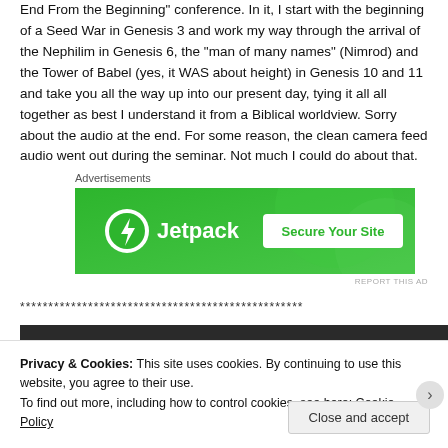End From the Beginning" conference. In it, I start with the beginning of a Seed War in Genesis 3 and work my way through the arrival of the Nephilim in Genesis 6, the "man of many names" (Nimrod) and the Tower of Babel (yes, it WAS about height) in Genesis 10 and 11 and take you all the way up into our present day, tying it all all together as best I understand it from a Biblical worldview. Sorry about the audio at the end. For some reason, the clean camera feed audio went out during the seminar. Not much I could do about that.
Advertisements
[Figure (other): Jetpack advertisement banner - green background with Jetpack logo and 'Secure Your Site' button]
REPORT THIS AD
**************************************************
Privacy & Cookies: This site uses cookies. By continuing to use this website, you agree to their use.
To find out more, including how to control cookies, see here: Cookie Policy
Close and accept